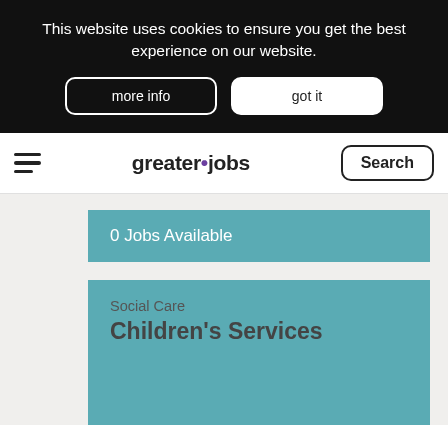This website uses cookies to ensure you get the best experience on our website.
more info
got it
greater•jobs | Search
0 Jobs Available
Social Care
Children's Services